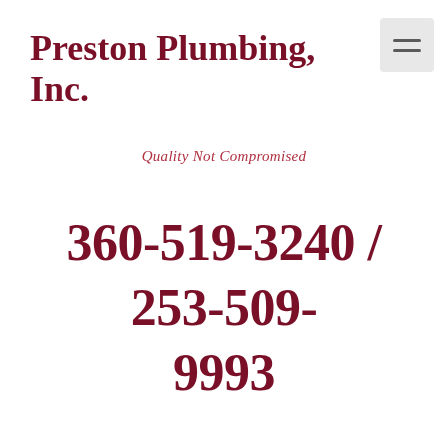Preston Plumbing, Inc.
Quality Not Compromised
360-519-3240 / 253-509-9993